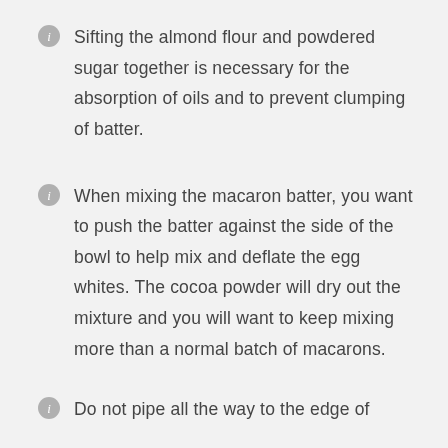Sifting the almond flour and powdered sugar together is necessary for the absorption of oils and to prevent clumping of batter.
When mixing the macaron batter, you want to push the batter against the side of the bowl to help mix and deflate the egg whites. The cocoa powder will dry out the mixture and you will want to keep mixing more than a normal batch of macarons.
Do not pipe all the way to the edge of